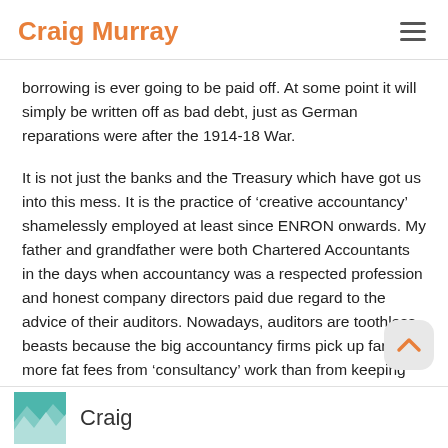Craig Murray
borrowing is ever going to be paid off. At some point it will simply be written off as bad debt, just as German reparations were after the 1914-18 War.
It is not just the banks and the Treasury which have got us into this mess. It is the practice of ‘creative accountancy’ shamelessly employed at least since ENRON onwards. My father and grandfather were both Chartered Accountants in the days when accountancy was a respected profession and honest company directors paid due regard to the advice of their auditors. Nowadays, auditors are toothless beasts because the big accountancy firms pick up far more fat fees from ‘consultancy’ work than from keeping their clients’ balance sheets on the straight and narrow.
Craig